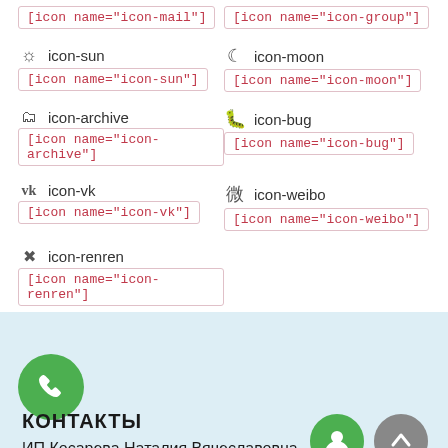[icon name="icon-mail"] [icon name="icon-group"]
icon-sun  [icon name="icon-sun"]
icon-moon  [icon name="icon-moon"]
icon-archive  [icon name="icon-archive"]
icon-bug  [icon name="icon-bug"]
icon-vk  [icon name="icon-vk"]
icon-weibo  [icon name="icon-weibo"]
icon-renren  [icon name="icon-renren"]
[Figure (other): Contact section with phone button, КОНТАКТЫ heading, ИП Косарева Наталия Вячеславовна text, support and up buttons on light blue background]
КОНТАКТЫ
ИП Косарева Наталия Вячеславовна